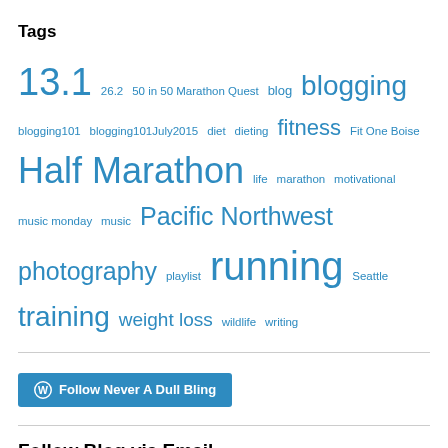Tags
13.1  26.2  50 in 50 Marathon Quest  blog  blogging  blogging101  blogging101July2015  diet  dieting  fitness  Fit One Boise  Half Marathon  life  marathon  motivational  music monday  music  Pacific Northwest  photography  playlist  running  Seattle  training  weight loss  wildlife  writing
[Figure (other): Follow Never A Dull Bling button with WordPress icon]
Follow Blog via Email
Enter your email address to follow this blog and receive notifications of